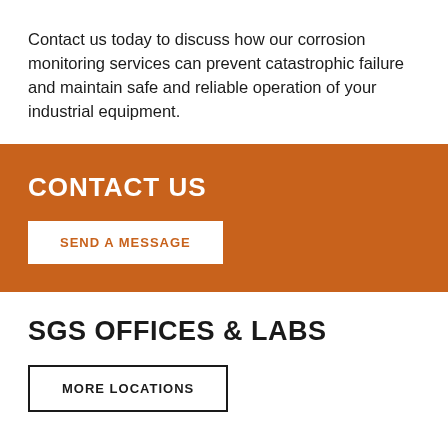Contact us today to discuss how our corrosion monitoring services can prevent catastrophic failure and maintain safe and reliable operation of your industrial equipment.
CONTACT US
SEND A MESSAGE
SGS OFFICES & LABS
MORE LOCATIONS